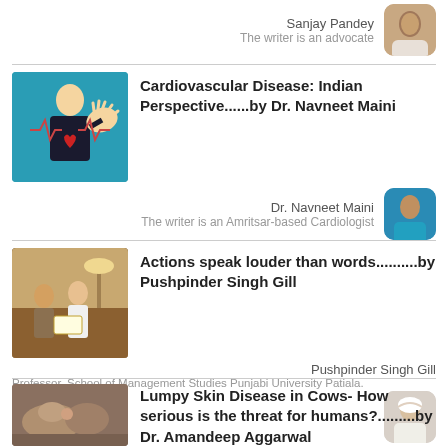Sanjay Pandey
The writer is an advocate
[Figure (photo): Author photo of Sanjay Pandey]
Cardiovascular Disease: Indian Perspective......by Dr. Navneet Maini
[Figure (illustration): Illustration of a person experiencing chest pain / cardiovascular distress]
Dr. Navneet Maini
The writer is an Amritsar-based Cardiologist
[Figure (photo): Author photo of Dr. Navneet Maini]
Actions speak louder than words..........by Pushpinder Singh Gill
[Figure (photo): Photo of people at what appears to be an official meeting or ceremony]
Pushpinder Singh Gill
Professor, School of Management Studies Punjabi University Patiala.
[Figure (photo): Author photo of Pushpinder Singh Gill]
Lumpy Skin Disease in Cows- How serious is the threat for humans?.........by Dr. Amandeep Aggarwal
[Figure (photo): Photo related to lumpy skin disease in cows]